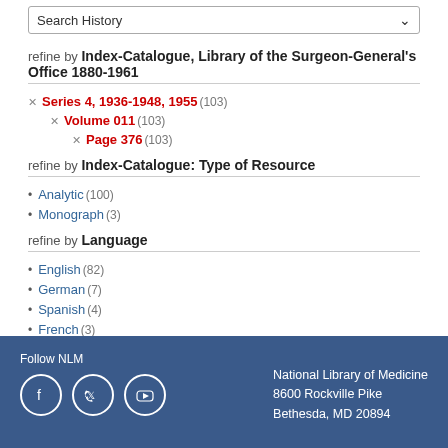Search History
refine by Index-Catalogue, Library of the Surgeon-General's Office 1880-1961
× Series 4, 1936-1948, 1955 (103)
× Volume 011 (103)
× Page 376 (103)
refine by Index-Catalogue: Type of Resource
· Analytic (100)
· Monograph (3)
refine by Language
· English (82)
· German (7)
· Spanish (4)
· French (3)
· Polish (3)
· Russian (3)
· Dutch (1)
Follow NLM | National Library of Medicine 8600 Rockville Pike Bethesda, MD 20894